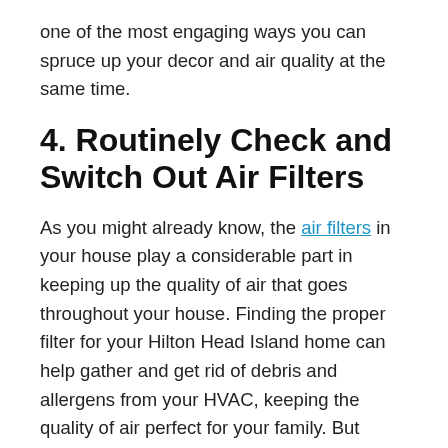one of the most engaging ways you can spruce up your decor and air quality at the same time.
4. Routinely Check and Switch Out Air Filters
As you might already know, the air filters in your house play a considerable part in keeping up the quality of air that goes throughout your house. Finding the proper filter for your Hilton Head Island home can help gather and get rid of debris and allergens from your HVAC, keeping the quality of air perfect for your family. But that’s only half the battle. Usual seasonal maintenance, cleaning and changing of your filter can ensure cleaner, healthier air for years, while giving your